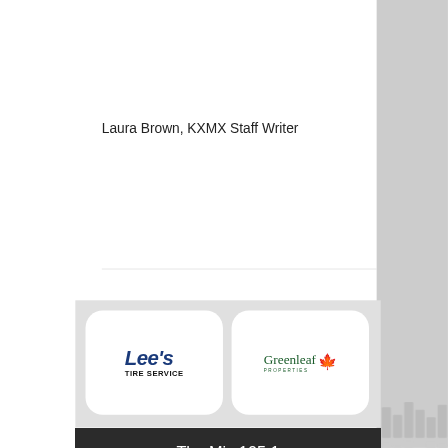Laura Brown, KXMX Staff Writer
[Figure (logo): Lee's Tire Service logo — italic blue bold 'Lee's' above bold black 'TIRE SERVICE' text]
[Figure (logo): Greenleaf Properties logo — green serif 'Greenleaf' with maple leaf icon above 'PROPERTIES' in small caps]
The Mix 105.1
(918) 790-1051 (Studio)
(918) 790-4444 (Office)
3 S. Kerr Blvd. Sallisaw, OK 74955